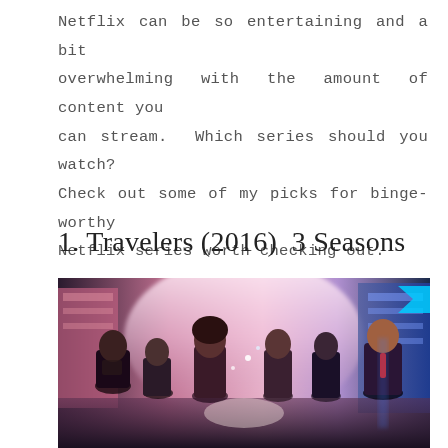Netflix can be so entertaining and a bit overwhelming with the amount of content you can stream.  Which series should you watch? Check out some of my picks for binge-worthy Netflix series worth checking out.
1. Travelers (2016)  3 Seasons
[Figure (photo): Promotional photo for the Netflix series Travelers (2016). Shows six cast members standing in a futuristic city street at night with colorful neon lights, glowing pink and blue hues, and a city skyline in the background.]